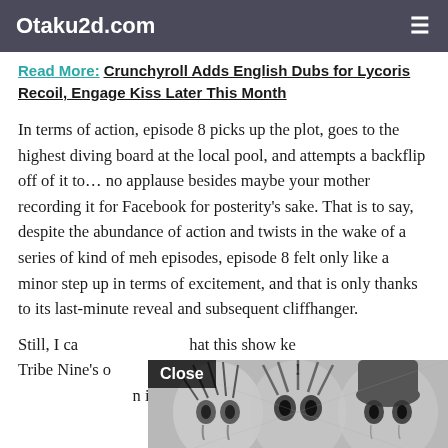Otaku2d.com
Read More: Crunchyroll Adds English Dubs for Lycoris Recoil, Engage Kiss Later This Month
In terms of action, episode 8 picks up the plot, goes to the highest diving board at the local pool, and attempts a backflip off of it to… no applause besides maybe your mother recording it for Facebook for posterity's sake. That is to say, despite the abundance of action and twists in the wake of a series of kind of meh episodes, episode 8 felt only like a minor step up in terms of excitement, and that is only thanks to its last-minute reveal and subsequent cliffhanger.
[Figure (illustration): Manga-style advertisement overlay with 'Close' button, showing anime girl characters in black and white manga art style, with 'READ FOR FREE' button in red and 'CLICK HERE' button in blue at the bottom.]
Still, I ca... hat this show ke... Tribe Nine's o... ly want it to pull... n its fina...